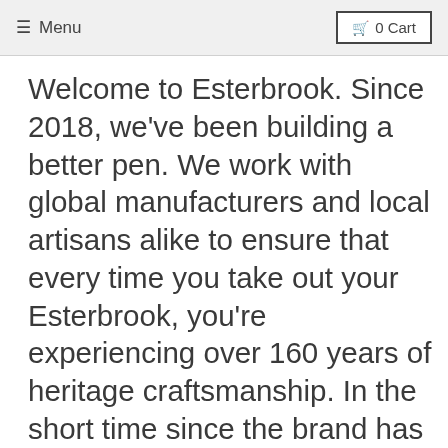≡ Menu  🛒 0 Cart
Welcome to Esterbrook. Since 2018, we've been building a better pen. We work with global manufacturers and local artisans alike to ensure that every time you take out your Esterbrook, you're experiencing over 160 years of heritage craftsmanship. In the short time since the brand has been resurrected, we've built a global community that spans 6 continents and over a hundred countries. We believe that now, more than ever, people are looking to Esterbrook to rejuvenate the pen industry – one Estie at a